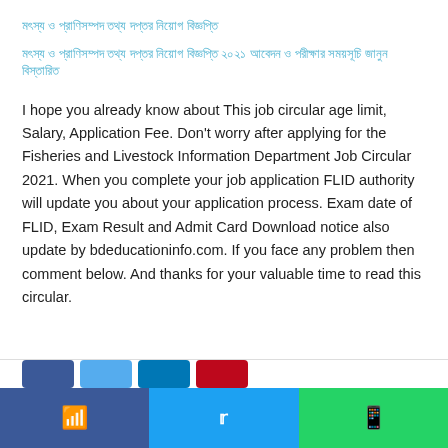মৎস্য ও প্রাণিসম্পদ তথ্য দপ্তর নিয়োগ বিজ্ঞপ্তি
মৎস্য ও প্রাণিসম্পদ তথ্য দপ্তর নিয়োগ বিজ্ঞপ্তি ২০২১ আবেদন ও পরীক্ষার সময়সূচি জানুন বিস্তারিত
I hope you already know about This job circular age limit, Salary, Application Fee. Don't worry after applying for the Fisheries and Livestock Information Department Job Circular 2021. When you complete your job application FLID authority will update you about your application process. Exam date of FLID, Exam Result and Admit Card Download notice also update by bdeducationinfo.com. If you face any problem then comment below. And thanks for your valuable time to read this circular.